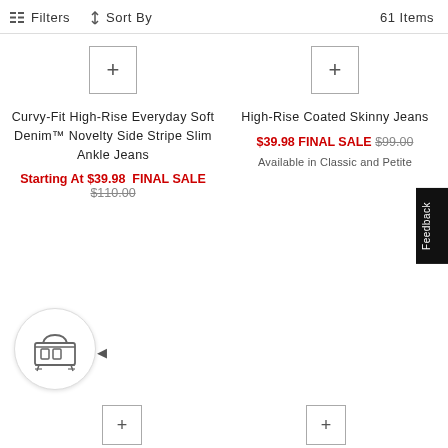Filters  Sort By  61 Items
Curvy-Fit High-Rise Everyday Soft Denim™ Novelty Side Stripe Slim Ankle Jeans
Starting At $39.98  FINAL SALE  $110.00
High-Rise Coated Skinny Jeans
$39.98 FINAL SALE  $99.00
Available in Classic and Petite
Feedback